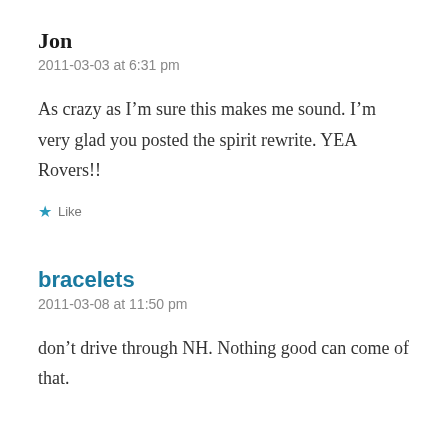Jon
2011-03-03 at 6:31 pm
As crazy as I'm sure this makes me sound. I'm very glad you posted the spirit rewrite. YEA Rovers!!
Like
bracelets
2011-03-08 at 11:50 pm
don't drive through NH. Nothing good can come of that.